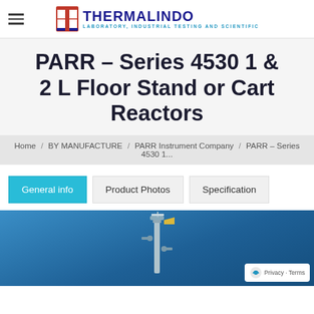THERMALINDO — LABORATORY, INDUSTRIAL TESTING AND SCIENTIFIC
PARR – Series 4530 1 & 2 L Floor Stand or Cart Reactors
Home / BY MANUFACTURE / PARR Instrument Company / PARR – Series 4530 1...
General info | Product Photos | Specification
[Figure (photo): Product photo of PARR Series 4530 reactor on a blue gradient background, showing the top portion of the reactor with valve assembly]